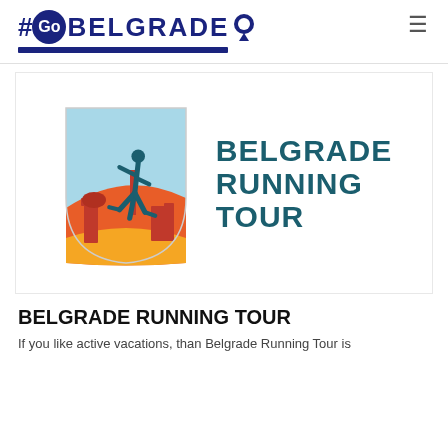#GoBelgrade
[Figure (logo): Belgrade Running Tour logo: shield shape with runner silhouette over city skyline in red and orange, next to bold text BELGRADE RUNNING TOUR in dark teal]
BELGRADE RUNNING TOUR
If you like active vacations, than Belgrade Running Tour is